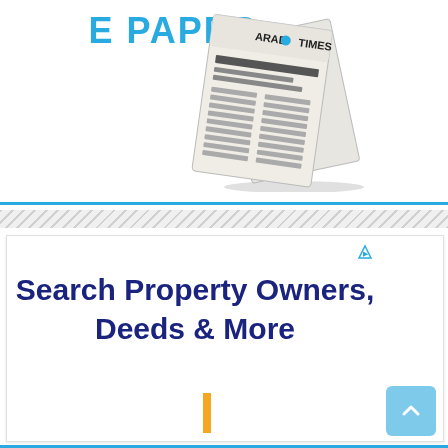E PAPER
[Figure (illustration): Folded newspaper graphic with masthead reading ARAB TIMES, illustrated in gray tones with folded pages]
[Figure (infographic): Diagonal gray stripe separator bar]
Search Property Owners, Deeds & More
[Figure (other): Orange vertical bar at bottom of ad section]